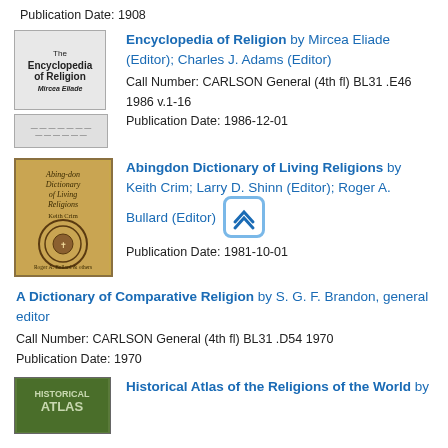Publication Date: 1908
[Figure (illustration): Book cover for Encyclopedia of Religion (two stacked cover images)]
Encyclopedia of Religion by Mircea Eliade (Editor); Charles J. Adams (Editor)
Call Number: CARLSON General (4th fl) BL31 .E46 1986 v.1-16
Publication Date: 1986-12-01
[Figure (illustration): Book cover for Abingdon Dictionary of Living Religions - orange/tan cover with circular design]
Abingdon Dictionary of Living Religions by Keith Crim; Larry D. Shinn (Editor); Roger A. Bullard (Editor)
Publication Date: 1981-10-01
A Dictionary of Comparative Religion by S. G. F. Brandon, general editor
Call Number: CARLSON General (4th fl) BL31 .D54 1970
Publication Date: 1970
[Figure (illustration): Book cover for Historical Atlas of the Religions of the World - green cover with HISTORICAL ATLAS text]
Historical Atlas of the Religions of the World by